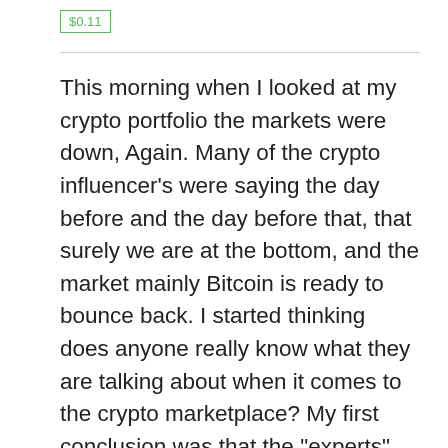$0.11
This morning when I looked at my crypto portfolio the markets were down, Again. Many of the crypto influencer's were saying the day before and the day before that, that surely we are at the bottom, and the market mainly Bitcoin is ready to bounce back. I started thinking does anyone really know what they are talking about when it comes to the crypto marketplace? My first conclusion was that the "experts" and novice are playing the guessing game, and have no clue what's